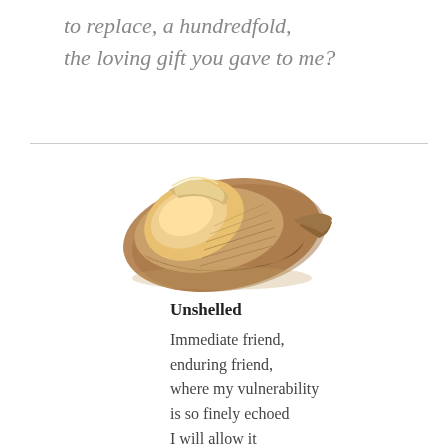to replace, a hundredfold,
the loving gift you gave to me?
[Figure (photo): A seashell (whelk or conch type) photographed on a white background, showing the open aperture with cream and amber interior, with a brown ridged exterior]
Unshelled
Immediate friend,
enduring friend,
where my vulnerability
is so finely echoed
I will allow it